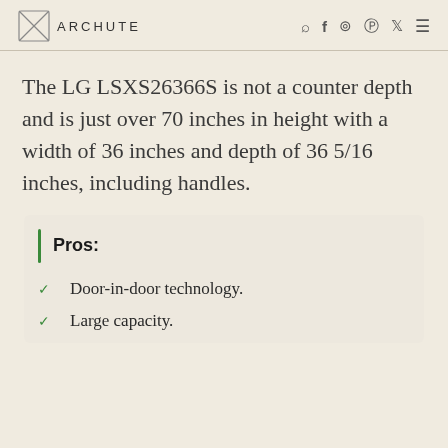ARCHUTE
The LG LSXS26366S is not a counter depth and is just over 70 inches in height with a width of 36 inches and depth of 36 5/16 inches, including handles.
Pros:
Door-in-door technology.
Large capacity.